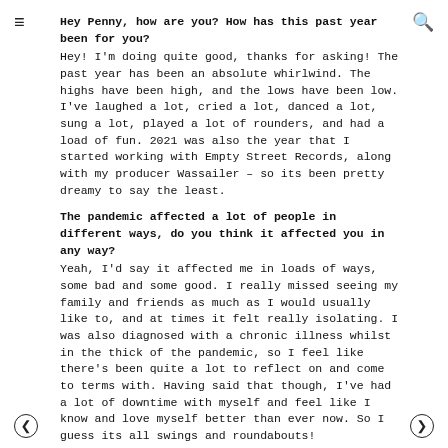Hey Penny, how are you? How has this past year been for you?
Hey! I'm doing quite good, thanks for asking! The past year has been an absolute whirlwind. The highs have been high, and the lows have been low. I've laughed a lot, cried a lot, danced a lot, sung a lot, played a lot of rounders, and had a load of fun. 2021 was also the year that I started working with Empty Street Records, along with my producer Wassailer – so its been pretty dreamy to say the least.
The pandemic affected a lot of people in different ways, do you think it affected you in any way?
Yeah, I'd say it affected me in loads of ways, some bad and some good. I really missed seeing my family and friends as much as I would usually like to, and at times it felt really isolating. I was also diagnosed with a chronic illness whilst in the thick of the pandemic, so I feel like there's been quite a lot to reflect on and come to terms with. Having said that though, I've had a lot of downtime with myself and feel like I know and love myself better than ever now. So I guess its all swings and roundabouts!
What sparked the interest in music?
I think I've always had quite a deep connection to music, which sounds kind of cliché , but I'm not sure how else to explain it! I grew up listening to a load of different genres, thanks to my